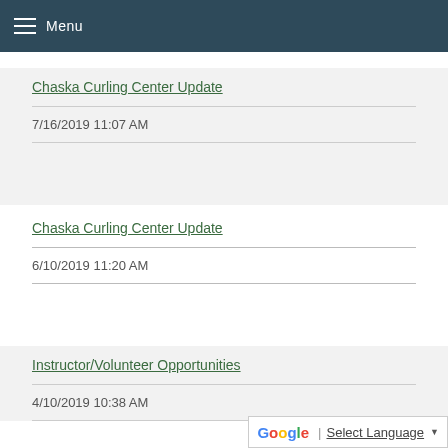Menu
Chaska Curling Center Update
7/16/2019 11:07 AM
Chaska Curling Center Update
6/10/2019 11:20 AM
Instructor/Volunteer Opportunities
4/10/2019 10:38 AM